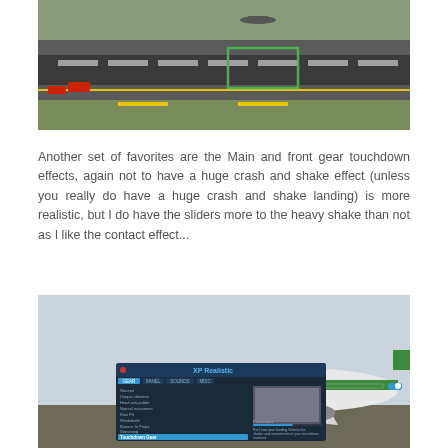[Figure (photo): Aerial view of an airport runway and taxiway with yellow markings, a green rectangle on the tarmac, and red warning signs visible.]
Another set of favorites are the Main and front gear touchdown effects, again not to have a huge crash and shake effect (unless you really do have a huge crash and shake landing) is more realistic, but I do have the sliders more to the heavy shake than not as I like the contact effect...
[Figure (screenshot): Screenshot of XP Realistic plugin settings panel overlaid on a photo of a green and white livery wide-body airliner on a runway, showing various sliders and settings including 'Touchdown Gear' selected.]